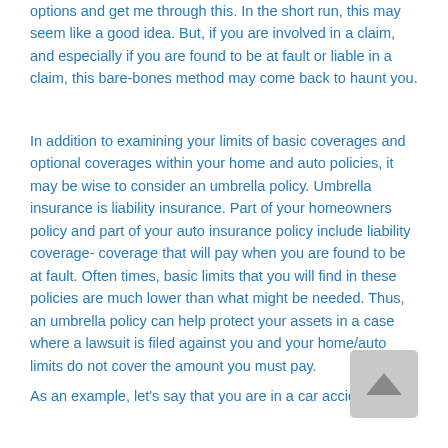options and get me through this. In the short run, this may seem like a good idea. But, if you are involved in a claim, and especially if you are found to be at fault or liable in a claim, this bare-bones method may come back to haunt you.
In addition to examining your limits of basic coverages and optional coverages within your home and auto policies, it may be wise to consider an umbrella policy. Umbrella insurance is liability insurance. Part of your homeowners policy and part of your auto insurance policy include liability coverage- coverage that will pay when you are found to be at fault. Often times, basic limits that you will find in these policies are much lower than what might be needed. Thus, an umbrella policy can help protect your assets in a case where a lawsuit is filed against you and your home/auto limits do not cover the amount you must pay.
As an example, let's say that you are in a car accident